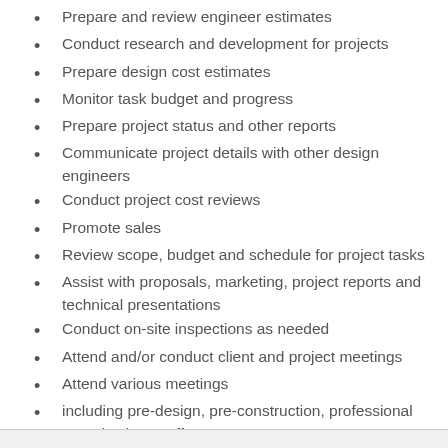Prepare and review engineer estimates
Conduct research and development for projects
Prepare design cost estimates
Monitor task budget and progress
Prepare project status and other reports
Communicate project details with other design engineers
Conduct project cost reviews
Promote sales
Review scope, budget and schedule for project tasks
Assist with proposals, marketing, project reports and technical presentations
Conduct on-site inspections as needed
Attend and/or conduct client and project meetings
Attend various meetings
including pre-design, pre-construction, professional organization, staff, etc.
Attend seminars and/or training classes